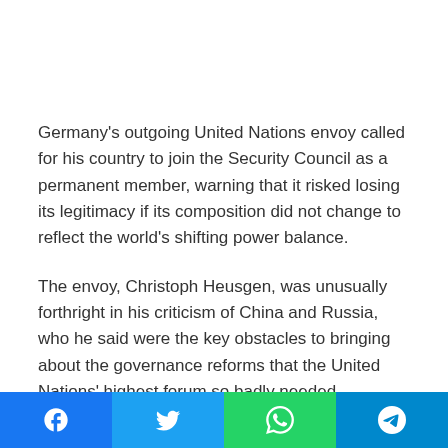Germany's outgoing United Nations envoy called for his country to join the Security Council as a permanent member, warning that it risked losing its legitimacy if its composition did not change to reflect the world's shifting power balance.
The envoy, Christoph Heusgen, was unusually forthright in his criticism of China and Russia, who he said were the key obstacles to bringing about the governance reforms that the United Nations' highest forum so badly needed.
“It’s primarily down to countries like China and Russia that no reform attempts have succeeded,” he told Reuters on his final